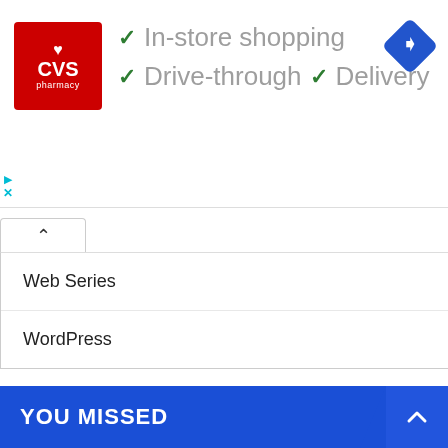[Figure (infographic): CVS Pharmacy advertisement banner showing logo and checkmarks for In-store shopping, Drive-through, and Delivery services with a navigation arrow icon]
Web Series
WordPress
[Figure (other): Three radio button controls (empty/unselected circular inputs)]
YOU MISSED